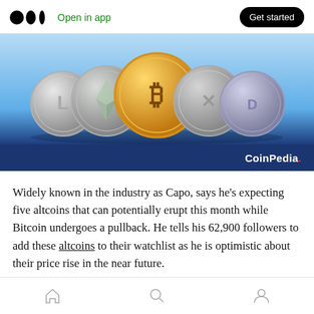Open in app  Get started
[Figure (photo): Five cryptocurrency coins displayed on a blue gradient background — Litecoin, Ethereum, Bitcoin (gold, center), Ripple, and Dash — with CoinPedia branding at the bottom.]
Widely known in the industry as Capo, says he's expecting five altcoins that can potentially erupt this month while Bitcoin undergoes a pullback. He tells his 62,900 followers to add these altcoins to their watchlist as he is optimistic about their price rise in the near future.
Home  Search  Profile